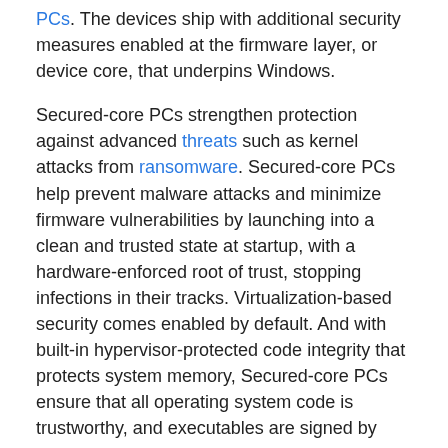PCs. The devices ship with additional security measures enabled at the firmware layer, or device core, that underpins Windows.
Secured-core PCs strengthen protection against advanced threats such as kernel attacks from ransomware. Secured-core PCs help prevent malware attacks and minimize firmware vulnerabilities by launching into a clean and trusted state at startup, with a hardware-enforced root of trust, stopping infections in their tracks. Virtualization-based security comes enabled by default. And with built-in hypervisor-protected code integrity that protects system memory, Secured-core PCs ensure that all operating system code is trustworthy, and executables are signed by known and approved authorities only.
Benefits of a Secured-core Windows 11 PC include:
Powerful security capabilities integrated across